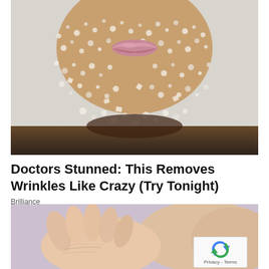[Figure (photo): Close-up photo of a person's lower face and chin covered in sparkling sugar crystals or salt scrub, with pink lips visible, on a light grey background. Dark neck/hair visible at bottom.]
Doctors Stunned: This Removes Wrinkles Like Crazy (Try Tonight)
Brilliance
[Figure (photo): Close-up photo of hands with aged/wrinkled skin on a light lavender/purple background. A reCAPTCHA badge with 'Privacy - Terms' text is overlaid in the bottom right corner.]